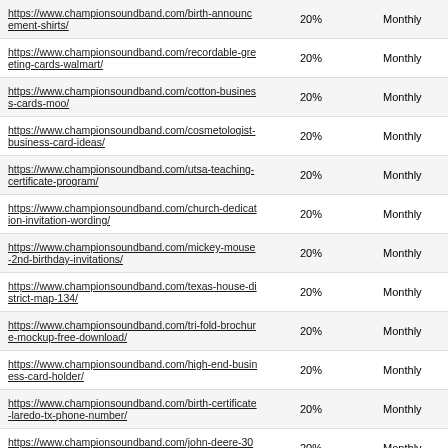| URL | Priority | Change Frequency |
| --- | --- | --- |
| https://www.championsoundband.com/birth-announcement-shirts/ | 20% | Monthly |
| https://www.championsoundband.com/recordable-greeting-cards-walmart/ | 20% | Monthly |
| https://www.championsoundband.com/cotton-business-cards-moo/ | 20% | Monthly |
| https://www.championsoundband.com/cosmetologist-business-card-ideas/ | 20% | Monthly |
| https://www.championsoundband.com/utsa-teaching-certificate-program/ | 20% | Monthly |
| https://www.championsoundband.com/church-dedication-invitation-wording/ | 20% | Monthly |
| https://www.championsoundband.com/mickey-mouse-2nd-birthday-invitations/ | 20% | Monthly |
| https://www.championsoundband.com/texas-house-district-map-134/ | 20% | Monthly |
| https://www.championsoundband.com/tri-fold-brochure-mockup-free-download/ | 20% | Monthly |
| https://www.championsoundband.com/high-end-business-card-holder/ | 20% | Monthly |
| https://www.championsoundband.com/birth-certificate-laredo-tx-phone-number/ | 20% | Monthly |
| https://www.championsoundband.com/john-deere-3020-12-volt-wiring-diagram/ | 20% | Monthly |
| https://www.championsoundband.com/avon-brochure-8-... | 20% | Monthly |